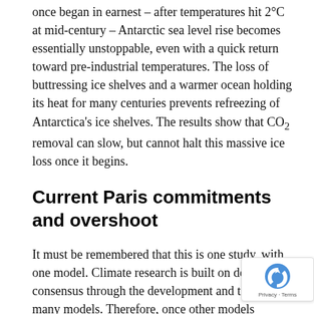once began in earnest – after temperatures hit 2°C at mid-century – Antarctic sea level rise becomes essentially unstoppable, even with a quick return toward pre-industrial temperatures. The loss of buttressing ice shelves and a warmer ocean holding its heat for many centuries prevents refreezing of Antarctica's ice shelves. The results show that CO2 removal can slow, but cannot halt this massive ice loss once it begins.
Current Paris commitments and overshoot
It must be remembered that this is one study, with one model. Climate research is built on developing consensus through the development and testing of many models. Therefore, once other models include more of the known physics, they may find less, or more, sea level